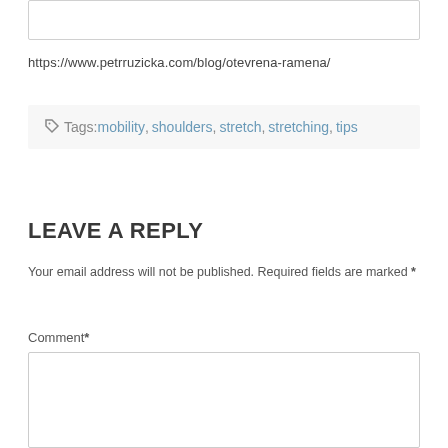https://www.petrruzicka.com/blog/otevrena-ramena/
Tags: mobility, shoulders, stretch, stretching, tips
LEAVE A REPLY
Your email address will not be published. Required fields are marked *
Comment*